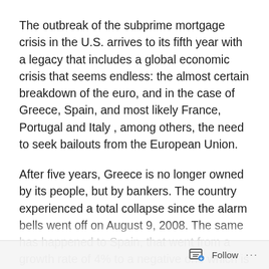The outbreak of the subprime mortgage crisis in the U.S. arrives to its fifth year with a legacy that includes a global economic crisis that seems endless: the almost certain breakdown of the euro, and in the case of Greece, Spain, and most likely France, Portugal and Italy , among others, the need to seek bailouts from the European Union.
After five years, Greece is no longer owned by its people, but by bankers. The country experienced a total collapse since the alarm bells went off on August 9, 2008. The same has happened to Spain, that went from a growth rate of 4% to a negative one which is expected to be 1.5% in 2012. As it happened in other sovereign debt stricken countries, Spain lost half of its stock market value — not that it really means anything in the real world — and
Follow ···